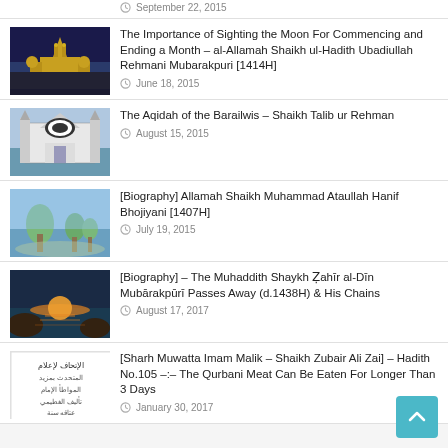September 22, 2015
The Importance of Sighting the Moon For Commencing and Ending a Month – al-Allamah Shaikh ul-Hadith Ubadiullah Rehmani Mubarakpuri [1414H]
June 18, 2015
The Aqidah of the Barailwis – Shaikh Talib ur Rehman
August 15, 2015
[Biography] Allamah Shaikh Muhammad Ataullah Hanif Bhojiyani [1407H]
July 19, 2015
[Biography] – The Muhaddith Shaykh Ẓahīr al-Dīn Mubārakpūrī Passes Away (d.1438H) & His Chains
August 17, 2017
[Sharh Muwatta Imam Malik – Shaikh Zubair Ali Zai] – Hadith No.105 –:– The Qurbani Meat Can Be Eaten For Longer Than 3 Days
January 30, 2017